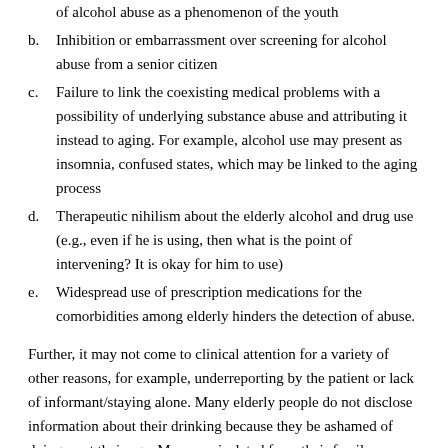of alcohol abuse as a phenomenon of the youth
b. Inhibition or embarrassment over screening for alcohol abuse from a senior citizen
c. Failure to link the coexisting medical problems with a possibility of underlying substance abuse and attributing it instead to aging. For example, alcohol use may present as insomnia, confused states, which may be linked to the aging process
d. Therapeutic nihilism about the elderly alcohol and drug use (e.g., even if he is using, then what is the point of intervening? It is okay for him to use)
e. Widespread use of prescription medications for the comorbidities among elderly hinders the detection of abuse.
Further, it may not come to clinical attention for a variety of other reasons, for example, underreporting by the patient or lack of informant/staying alone. Many elderly people do not disclose information about their drinking because they be ashamed of doing so at their age. Many are isolated from their family members, with minimal social networks, thereby making the problem even more difficult to detect.[10] Often, the underlying alcohol use may be “discovered” per chance in